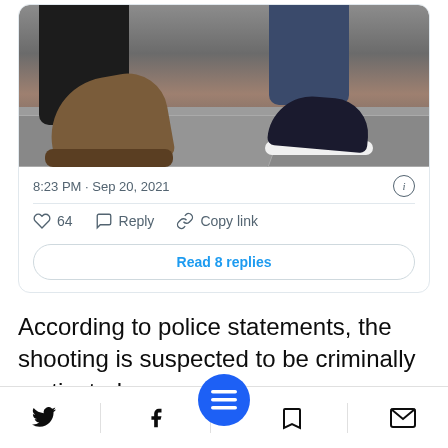[Figure (photo): A photo showing the feet and lower legs of two people, one wearing brown boots and dark pants, the other wearing dark blue jeans and dark blue sneakers with white soles, standing on a grey tiled floor.]
8:23 PM · Sep 20, 2021
64  Reply  Copy link
Read 8 replies
According to police statements, the shooting is suspected to be criminally motivated.
[Figure (screenshot): A grey card/content block partially visible at the bottom of the viewport.]
Twitter share  Facebook share  Menu  Bookmark  Email